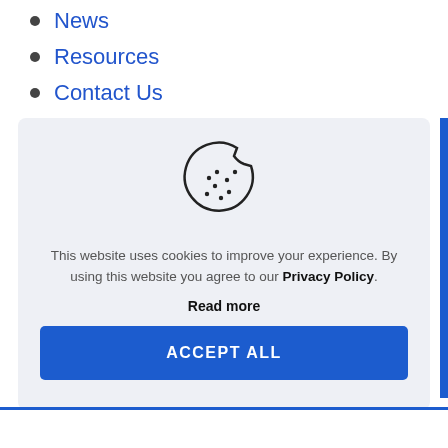News
Resources
Contact Us
[Figure (illustration): Cookie icon: a round cookie with a bite taken out of the top-right, and several small dots scattered across it, rendered in dark outline style.]
This website uses cookies to improve your experience. By using this website you agree to our Privacy Policy.
Read more
ACCEPT ALL